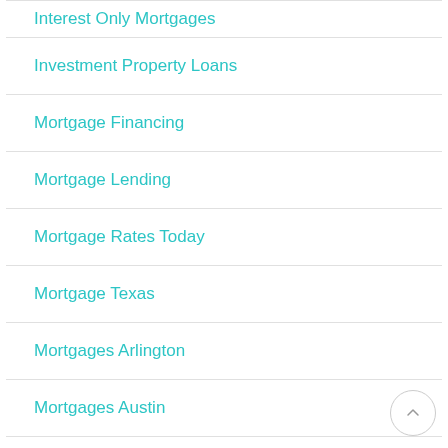Interest Only Mortgages
Investment Property Loans
Mortgage Financing
Mortgage Lending
Mortgage Rates Today
Mortgage Texas
Mortgages Arlington
Mortgages Austin
Mortgages Dallas